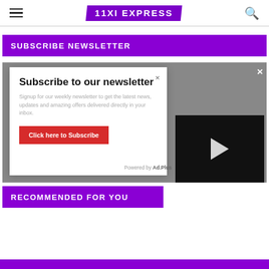11XI EXPRESS
SUBSCRIBE NEWSLETTER
[Figure (screenshot): Newsletter subscription modal dialog on grey background with close button, title 'Subscribe to our newsletter', description text, and red 'Click here to Subscribe' button. An Ad.Plus powered label appears at bottom right. A video player overlay with play button and X close button is visible at bottom right.]
RECOMMENDED FOR YOU